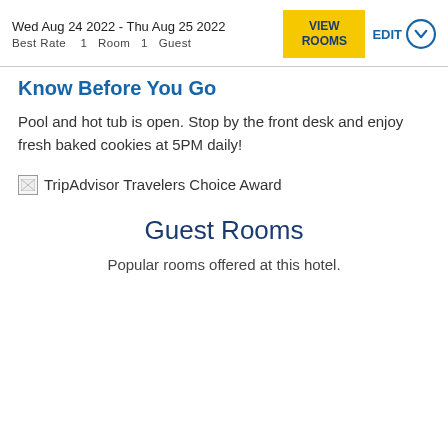Wed Aug 24 2022 - Thu Aug 25 2022
Best Rate   1   Room   1   Guest
Know Before You Go
Pool and hot tub is open. Stop by the front desk and enjoy fresh baked cookies at 5PM daily!
[Figure (illustration): Broken image placeholder for TripAdvisor Travelers Choice Award]
TripAdvisor Travelers Choice Award
Guest Rooms
Popular rooms offered at this hotel.